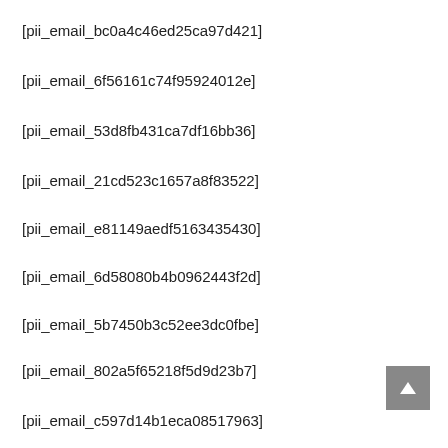[pii_email_bc0a4c46ed25ca97d421]
[pii_email_6f56161c74f95924012e]
[pii_email_53d8fb431ca7df16bb36]
[pii_email_21cd523c1657a8f83522]
[pii_email_e81149aedf5163435430]
[pii_email_6d58080b4b0962443f2d]
[pii_email_5b7450b3c52ee3dc0fbe]
[pii_email_802a5f65218f5d9d23b7]
[pii_email_c597d14b1eca08517963]